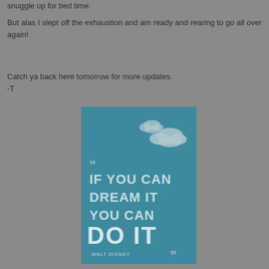snuggle up for bed time.
But alas I slept off the exhaustion and am ready and rearing to go all over again!
Catch ya back here tomorrow for more updates.
-T
[Figure (illustration): Teal/blue poster with clouds at top and quote text: “IF YOU CAN DREAM IT YOU CAN DO IT” -WALT DISNEY, with decorative quotation marks]